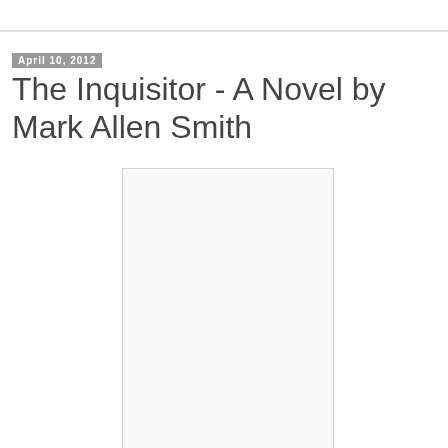April 10, 2012
The Inquisitor - A Novel by Mark Allen Smith
[Figure (illustration): Book cover image placeholder — a white/light gray rectangle with a thin border representing the cover of 'The Inquisitor' novel]